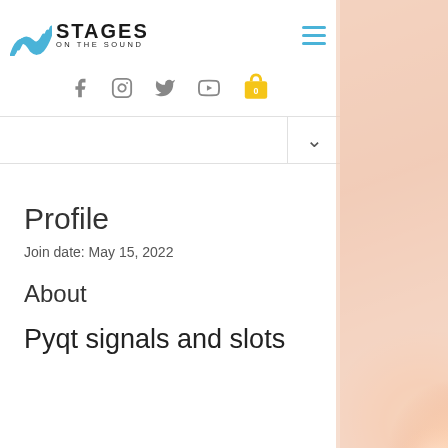STAGES ON THE SOUND
Join date: May 15, 2022
Profile
About
Pyqt signals and slots